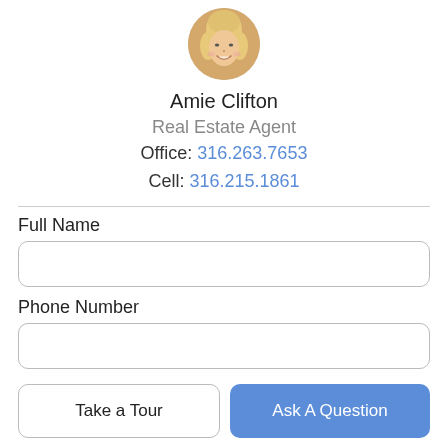[Figure (photo): Circular profile photo of Amie Clifton, a woman with blonde hair, smiling]
Amie Clifton
Real Estate Agent
Office: 316.263.7653
Cell: 316.215.1861
Full Name
Phone Number
Email Address
Take a Tour
Ask A Question